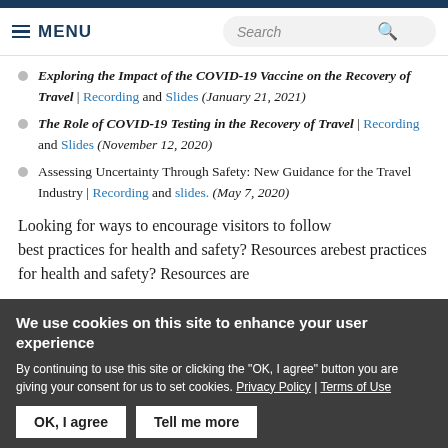MENU | Search
Exploring the Impact of the COVID-19 Vaccine on the Recovery of Travel | Recording and Slides (January 21, 2021)
The Role of COVID-19 Testing in the Recovery of Travel | Recording and Slides (November 12, 2020)
Assessing Uncertainty Through Safety: New Guidance for the Travel Industry | Recording and slides. (May 7, 2020)
Looking for ways to encourage visitors to follow best practices for health and safety? Resources are
We use cookies on this site to enhance your user experience
By continuing to use this site or clicking the "OK, I agree" button you are giving your consent for us to set cookies. Privacy Policy | Terms of Use
OK, I agree    Tell me more